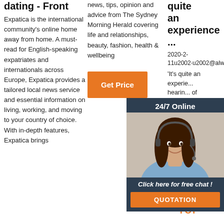dating - Front
Expatica is the international community's online home away from home. A must-read for English-speaking expatriates and internationals across Europe, Expatica provides a tailored local news service and essential information on living, working, and moving to your country of choice. With in-depth features, Expatica brings
news, tips, opinion and advice from The Sydney Morning Herald covering life and relationships, beauty, fashion, health & wellbeing
[Figure (other): Orange 'Get Price' button]
quite an experience ...
2020-2-11u2002·u2002@alwayso
'It's quite an experience ... hearing of your ... carrying ... over 1... year...
[Figure (other): 24/7 Online chat widget with agent photo, 'Click here for free chat!' text and QUOTATION button]
[Figure (other): Orange GET button (partially visible)]
[Figure (other): TOP button with orange dotted triangle and orange TOP text]